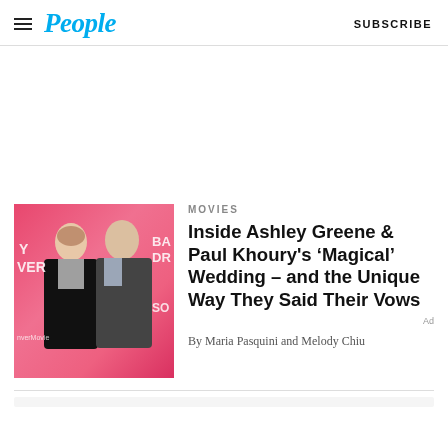People | SUBSCRIBE
[Figure (photo): Photo of Ashley Greene and Paul Khoury at a movie premiere in front of a pink backdrop with text 'BA DR' and 'SO' visible]
MOVIES
Inside Ashley Greene & Paul Khoury's ‘Magical’ Wedding – and the Unique Way They Said Their Vows
By Maria Pasquini and Melody Chiu